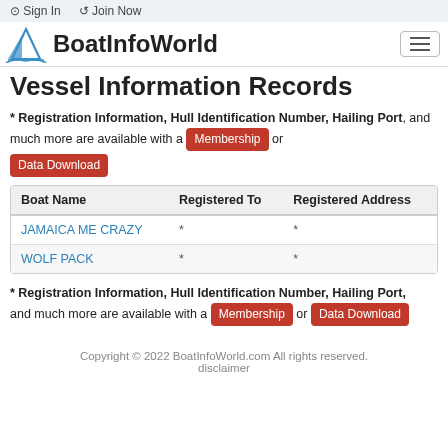Sign In   Join Now
[Figure (logo): BoatInfoWorld logo with sailboat icon and hamburger menu button]
Vessel Information Records
* Registration Information, Hull Identification Number, Hailing Port, and much more are available with a Membership or Data Download
| Boat Name | Registered To | Registered Address |
| --- | --- | --- |
| JAMAICA ME CRAZY | * | * |
| WOLF PACK | * | * |
* Registration Information, Hull Identification Number, Hailing Port, and much more are available with a Membership or Data Download
Copyright © 2022 BoatInfoWorld.com All rights reserved. disclaimer